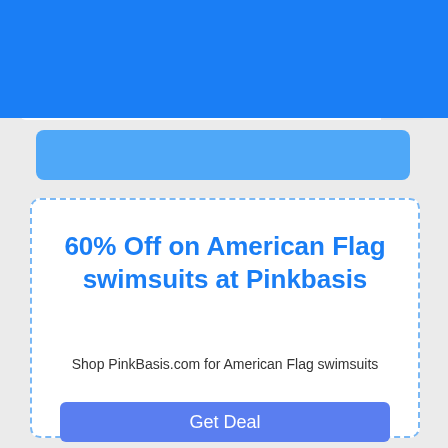CouponFond - What Stores are you looking for?
60% Off on American Flag swimsuits at Pinkbasis
Shop PinkBasis.com for American Flag swimsuits
Get Deal